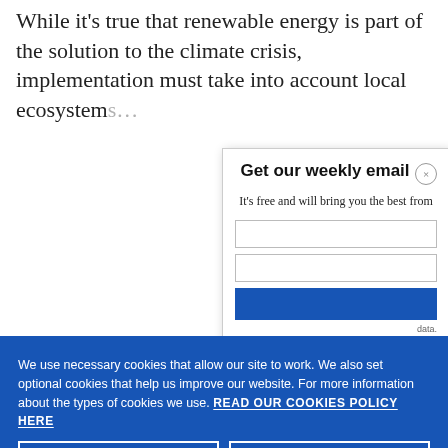While it's true that renewable energy is part of the solution to the climate crisis, implementation must take into account local ecosystem
Get our weekly email
It's free and will bring you the best from
We use necessary cookies that allow our site to work. We also set optional cookies that help us improve our website. For more information about the types of cookies we use. READ OUR COOKIES POLICY HERE
COOKIE SETTINGS
ALLOW ALL COOKIES
data.
[Figure (photo): Partial photo of people or nature, visible at bottom-left corner of the page]